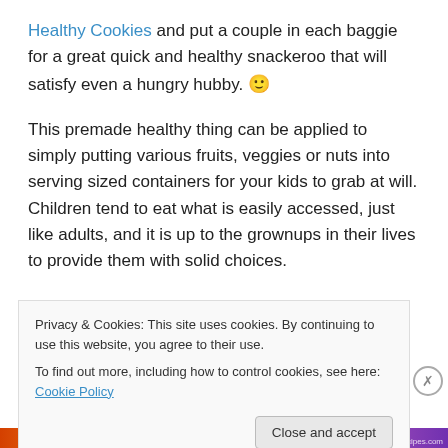Healthy Cookies and put a couple in each baggie for a great quick and healthy snackeroo that will satisfy even a hungry hubby. 🙂
This premade healthy thing can be applied to simply putting various fruits, veggies or nuts into serving sized containers for your kids to grab at will. Children tend to eat what is easily accessed, just like adults, and it is up to the grownups in their lives to provide them with solid choices.
What are some of your favorite
Privacy & Cookies: This site uses cookies. By continuing to use this website, you agree to their use.
To find out more, including how to control cookies, see here: Cookie Policy
[Figure (screenshot): Colorful banner bar at the bottom of the page]